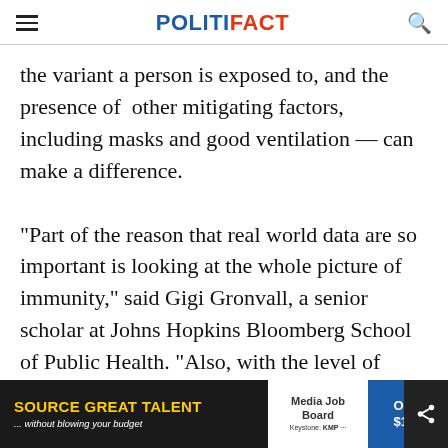POLITIFACT
the variant a person is exposed to, and the presence of other mitigating factors, including masks and good ventilation — can make a difference.
"Part of the reason that real world data are so important is looking at the whole picture of immunity," said Gigi Gronvall, a senior scholar at Johns Hopkins Bloomberg School of Public Health. "Also, with the level of community transmissions of disease, I would be conc[erned] that t[...]
[Figure (screenshot): Advertisement banner at bottom: SOURCE GREAT TALENT ...without blowing your budget, Media Job Board, Only $199]